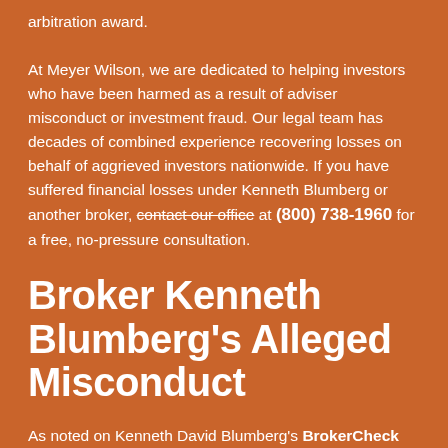arbitration award.
At Meyer Wilson, we are dedicated to helping investors who have been harmed as a result of adviser misconduct or investment fraud. Our legal team has decades of combined experience recovering losses on behalf of aggrieved investors nationwide. If you have suffered financial losses under Kenneth Blumberg or another broker, contact our office at (800) 738-1960 for a free, no-pressure consultation.
Broker Kenneth Blumberg's Alleged Misconduct
As noted on Kenneth David Blumberg's BrokerCheck report, a customer dispute filed on March 18, 2022, alleges